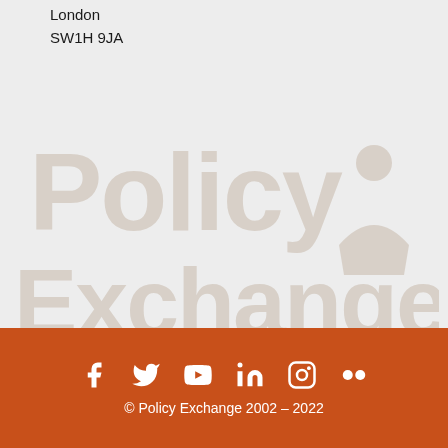London
SW1H 9JA
[Figure (logo): Policy Exchange watermark logo in light grey, large text reading 'Policy Exchange' with a figure/person icon, displayed as a background watermark]
Social media icons (Facebook, Twitter, YouTube, LinkedIn, Instagram, Flickr) © Policy Exchange 2002 – 2022